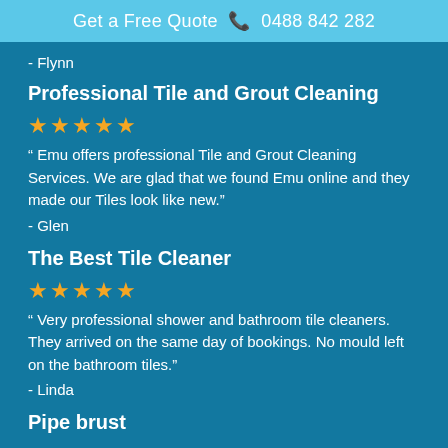Get a Free Quote ☎ 0488 842 282
- Flynn
Professional Tile and Grout Cleaning
★★★★★
“ Emu offers professional Tile and Grout Cleaning Services. We are glad that we found Emu online and they made our Tiles look like new.”
- Glen
The Best Tile Cleaner
★★★★★
“ Very professional shower and bathroom tile cleaners. They arrived on the same day of bookings. No mould left on the bathroom tiles.”
- Linda
Pipe brust